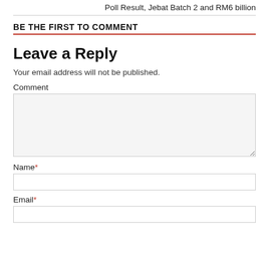Poll Result, Jebat Batch 2 and RM6 billion
BE THE FIRST TO COMMENT
Leave a Reply
Your email address will not be published.
Comment
Name*
Email*